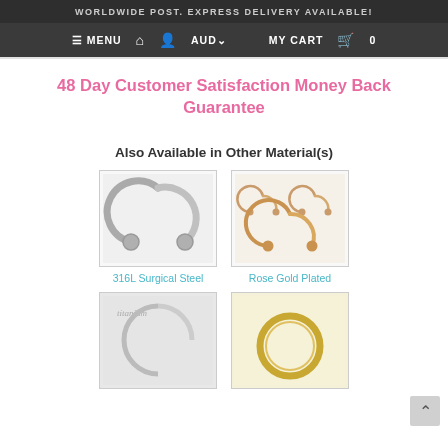WORLDWIDE POST. EXPRESS DELIVERY AVAILABLE!
≡ MENU  🏠  👤  AUD∨  MY CART  🛒  0
48 Day Customer Satisfaction Money Back Guarantee
Also Available in Other Material(s)
[Figure (photo): 316L Surgical Steel horseshoe ring piercing jewelry - silver colored circular barbell with two balls]
316L Surgical Steel
[Figure (photo): Rose Gold Plated horseshoe ring piercing jewelry - three gold/rose gold circular barbells of different sizes]
Rose Gold Plated
[Figure (photo): Titanium piercing ring - silver colored circular ring, partial view with titanium watermark]
[Figure (photo): Gold colored circular ring piercing jewelry - plain gold hoop ring]